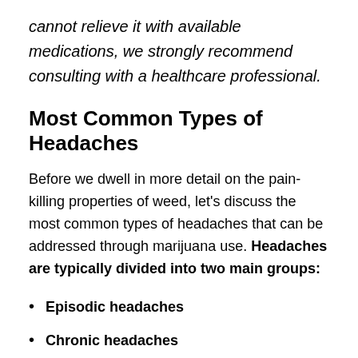cannot relieve it with available medications, we strongly recommend consulting with a healthcare professional.
Most Common Types of Headaches
Before we dwell in more detail on the pain-killing properties of weed, let's discuss the most common types of headaches that can be addressed through marijuana use. Headaches are typically divided into two main groups:
Episodic headaches
Chronic headaches